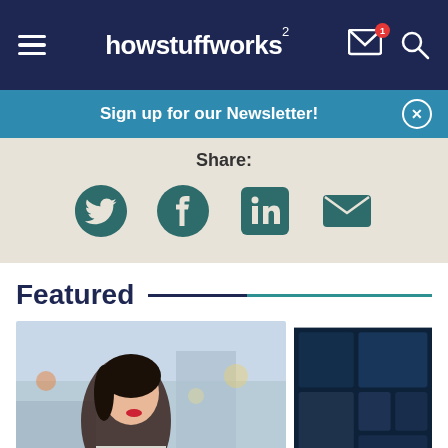howstuffworks²
Sign up for our Newsletter!
Share:
[Figure (screenshot): Social share icons: Twitter, Facebook, LinkedIn, Email on beige background]
Featured
[Figure (photo): Young Asian woman looking up, bokeh city background]
[Figure (photo): Dark blue tiled/grid pattern image]